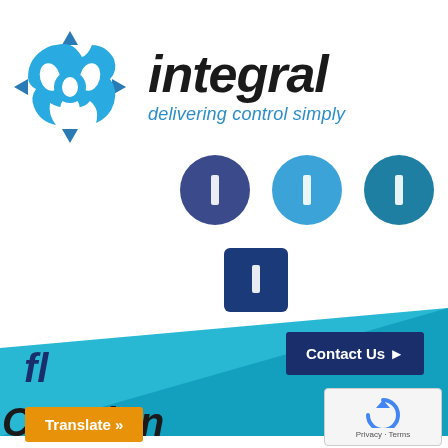[Figure (logo): Integral company logo with cyan geometric circular icon and brand name 'integral' in bold italic black with tagline 'delivering control simply' in cyan italic]
[Figure (infographic): Three circular social media icon buttons in a row: dark blue/navy, cyan blue, teal blue; followed by one dark navy square icon below center]
[Figure (infographic): Diagonal cyan/teal banner strip across lower section of page with 'Contact Us' dark navy button on right and 'fl' text on left]
Creation
[Figure (other): Orange 'Translate »' button overlay]
[Figure (other): reCAPTCHA widget box with Privacy · Terms text]